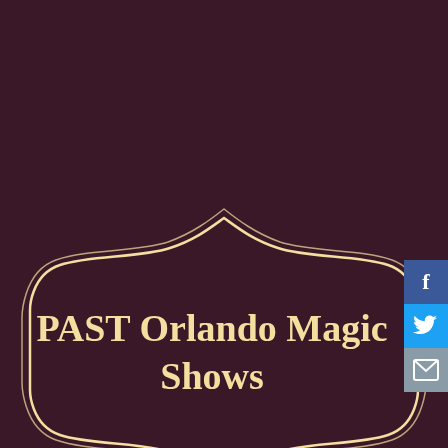[Figure (illustration): Dark burgundy/maroon background with a decorative golden ornate label/banner frame featuring curved flourishes at top and bottom center. Inside the frame is the title text 'PAST Orlando Magic Shows' in golden serif font. Social media icons (Facebook blue, Twitter blue, email grey) are stacked on the right edge.]
PAST Orlando Magic Shows